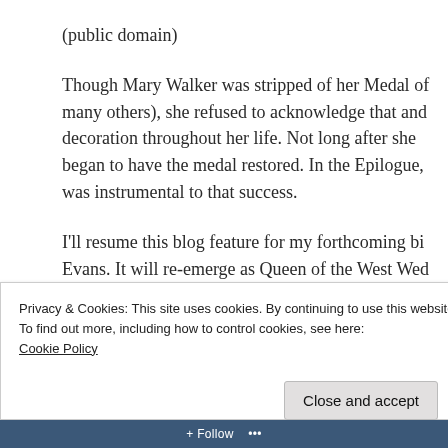(public domain)
Though Mary Walker was stripped of her Medal of many others), she refused to acknowledge that and decoration throughout her life. Not long after she began to have the medal restored. In the Epilogue, was instrumental to that success.
I'll resume this blog feature for my forthcoming bi Evans. It will re-emerge as Queen of the West Wed know when it's time to saddle up!)
Privacy & Cookies: This site uses cookies. By continuing to use this website, you agree to their use.
To find out more, including how to control cookies, see here:
Cookie Policy